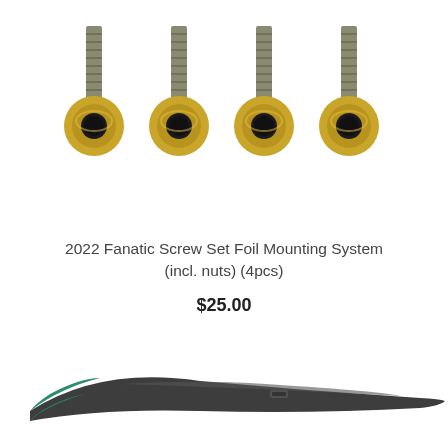[Figure (photo): Product photo of 4 threaded bolts/screws and 4 brass flange nuts arranged on white background]
2022 Fanatic Screw Set Foil Mounting System (incl. nuts) (4pcs)
$25.00
[Figure (photo): Product photo of a dark grey foil wing/stabilizer with green/teal leading edge tip, shown diagonally]